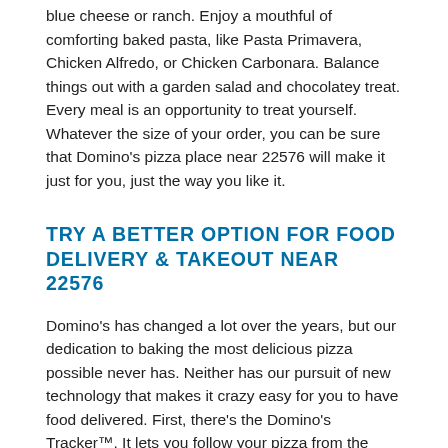blue cheese or ranch. Enjoy a mouthful of comforting baked pasta, like Pasta Primavera, Chicken Alfredo, or Chicken Carbonara. Balance things out with a garden salad and chocolatey treat. Every meal is an opportunity to treat yourself. Whatever the size of your order, you can be sure that Domino's pizza place near 22576 will make it just for you, just the way you like it.
TRY A BETTER OPTION FOR FOOD DELIVERY & TAKEOUT NEAR 22576
Domino's has changed a lot over the years, but our dedication to baking the most delicious pizza possible never has. Neither has our pursuit of new technology that makes it crazy easy for you to have food delivered. First, there's the Domino's Tracker™. It lets you follow your pizza from the moment it's being made to when it goes out with one of your local store's delivery drivers. And don't forget about Domino's Hotspots®, a cool technology that lets you have Domino's sandwiches, pizza, pasta, chicken, and more delivered practically anywhere you want in Weems — park, pool, or beach — we come to you! Or, have the Domino's dishes you